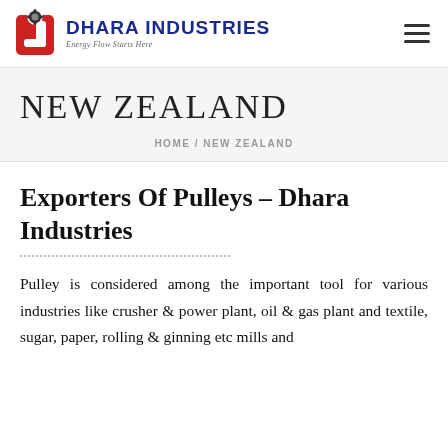[Figure (logo): Dhara Industries logo with red gear/pulley icon and blue text 'DHARA INDUSTRIES' with tagline 'Energy Flow Starts Here']
NEW ZEALAND
HOME / NEW ZEALAND
Exporters Of Pulleys – Dhara Industries
Pulley is considered among the important tool for various industries like crusher & power plant, oil & gas plant and textile, sugar, paper, rolling & ginning etc mills and